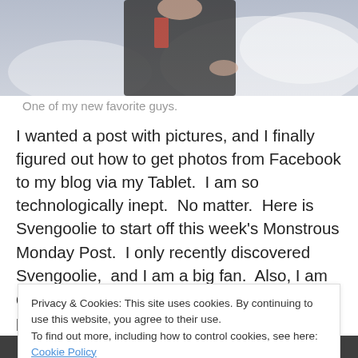[Figure (photo): Top portion of a photo showing a person in a black outfit with a red element, with mist/fog in background]
One of my new favorite guys.
I wanted a post with pictures, and I finally figured out how to get photos from Facebook to my blog via my Tablet.  I am so technologically inept.  No matter.  Here is Svengoolie to start off this week's Monstrous Monday Post.  I only recently discovered Svengoolie,  and I am a big fan.  Also, I am quite envious.  What a great job!  I personally have made inferior career choices.  But let us
Privacy & Cookies: This site uses cookies. By continuing to use this website, you agree to their use.
To find out more, including how to control cookies, see here: Cookie Policy
[Figure (photo): Bottom cropped portion of a black and white photo]